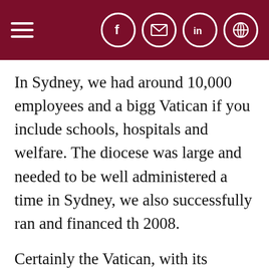Navigation header with hamburger menu and social icons (Facebook, email, LinkedIn, share)
In Sydney, we had around 10,000 employees and a bigg Vatican if you include schools, hospitals and welfare. Th diocese was large and needed to be well administered a time in Sydney, we also successfully ran and financed th 2008.
Certainly the Vatican, with its particular historical conte specific investment of time and expertise, but it is also tr the last pre-conclave were clear that the finances in the put into order.
How much work has gone into overseeing and reformi finances?